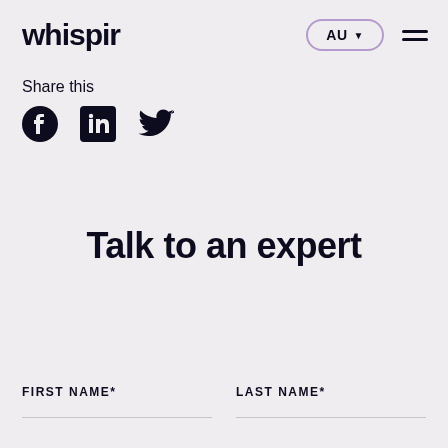whispir
Share this
[Figure (other): Social media share icons: Facebook, LinkedIn, Twitter]
Talk to an expert
FIRST NAME*
LAST NAME*